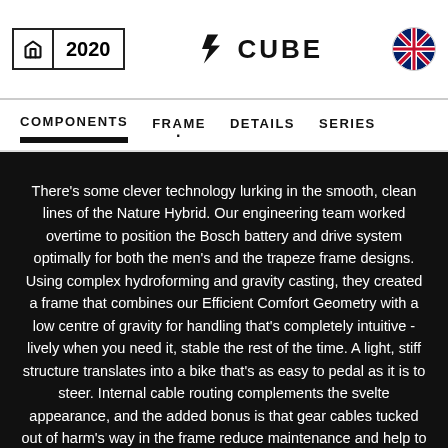🏠 2020 | CUBE | 🇬🇧
COMPONENTS | FRAME | DETAILS | SERIES
There's some clever technology lurking in the smooth, clean lines of the Nature Hybrid. Our engineering team worked overtime to position the Bosch battery and drive system optimally for both the men's and the trapeze frame designs. Using complex hydroforming and gravity casting, they created a frame that combines our Efficient Comfort Geometry with a low centre of gravity for handling that's completely intuitive - lively when you need it, stable the rest of the time. A light, stiff structure translates into a bike that's as easy to pedal as it is to steer. Internal cable routing complements the svelte appearance, and the added bonus is that gear cables tucked out of harm's way in the frame reduce maintenance and help to keep